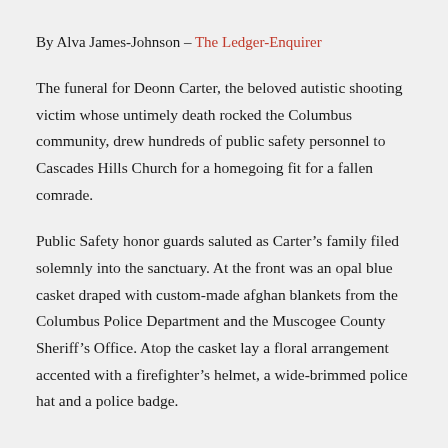By Alva James-Johnson – The Ledger-Enquirer
The funeral for Deonn Carter, the beloved autistic shooting victim whose untimely death rocked the Columbus community, drew hundreds of public safety personnel to Cascades Hills Church for a homegoing fit for a fallen comrade.
Public Safety honor guards saluted as Carter's family filed solemnly into the sanctuary. At the front was an opal blue casket draped with custom-made afghan blankets from the Columbus Police Department and the Muscogee County Sheriff's Office. Atop the casket lay a floral arrangement accented with a firefighter's helmet, a wide-brimmed police hat and a police badge.